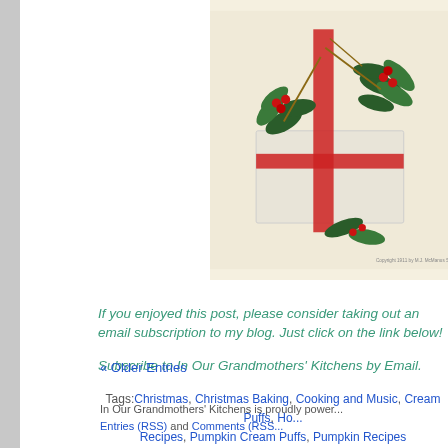[Figure (illustration): Vintage Christmas image showing a white gift box decorated with red ribbon, holly branches with red berries, and green leaves. Copyright text visible at bottom right.]
If you enjoyed this post, please consider taking out an email subscription to my blog. Just click on the link below!
Subscribe to In Our Grandmothers' Kitchens by Email.
Tags: Christmas, Christmas Baking, Cooking and Music, Cream Puffs, Ho... Recipes, Pumpkin Cream Puffs, Pumpkin Recipes
Posted in Cakes, Pies, and Pastry, Holiday Foods, Pumpkins and Squas... Comments »
« Older Entries
In Our Grandmothers' Kitchens is proudly power... Entries (RSS) and Comments (RSS...